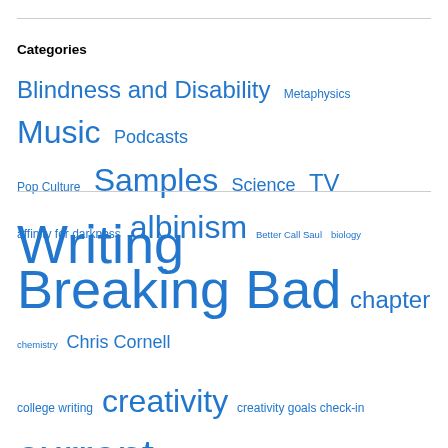Categories
Blindness and Disability  Metaphysics  Music  Podcasts  Pop Culture  Samples  Science  TV  Writing
affinity for darkness  albinism  Better Call Saul  biology  Breaking Bad  chapter  chemistry  Chris Cornell  college writing  creativity  creativity goals check-in  current writing  early work  Eclipses of Jupiter  editing  essay  excerpt  fiction  final 8 episodes  final season  fourth